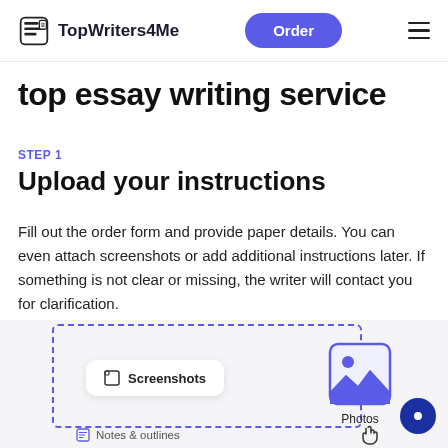TopWriters4Me | Order | Menu
top essay writing service
STEP 1
Upload your instructions
Fill out the order form and provide paper details. You can even attach screenshots or add additional instructions later. If something is not clear or missing, the writer will contact you for clarification.
[Figure (screenshot): UI illustration showing file upload options including Screenshots card, Photos card with mountain image icon, and Notes & outlines label, with a dashed selection border and a chat bubble button]